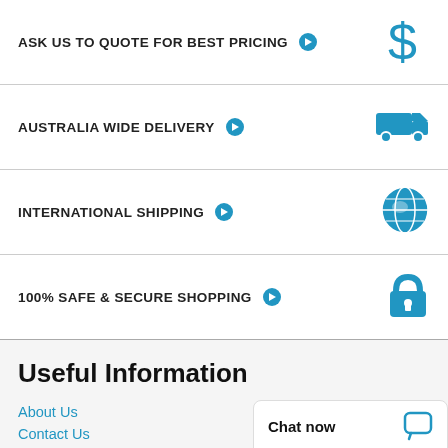ASK US TO QUOTE FOR BEST PRICING →
AUSTRALIA WIDE DELIVERY →
INTERNATIONAL SHIPPING →
100% SAFE & SECURE SHOPPING →
Useful Information
About Us
Contact Us
Shipping & Returns
Price Guarantee
Chat now